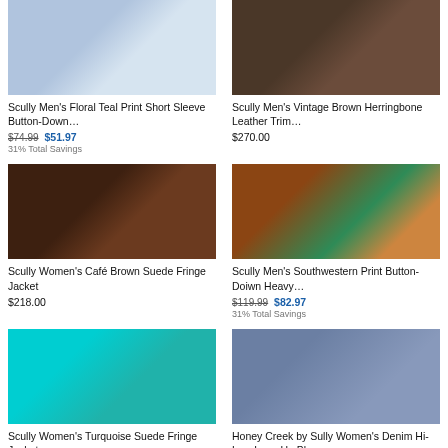[Figure (photo): Scully Men's Floral Teal Print Short Sleeve Button-Down shirt product photo]
Scully Men's Floral Teal Print Short Sleeve Button-Down…
$74.99 $51.97
31% Total Savings
[Figure (photo): Scully Men's Vintage Brown Herringbone Leather Trim jacket product photo]
Scully Men's Vintage Brown Herringbone Leather Trim…
$270.00
[Figure (photo): Scully Women's Café Brown Suede Fringe Jacket product photo]
Scully Women's Café Brown Suede Fringe Jacket
$218.00
[Figure (photo): Scully Men's Southwestern Print Button-Down Heavy jacket product photo]
Scully Men's Southwestern Print Button-Doiwn Heavy…
$119.99 $82.97
31% Total Savings
[Figure (photo): Scully Women's Turquoise Suede Fringe Jacket product photo]
Scully Women's Turquoise Suede Fringe Jacket
$218.00
[Figure (photo): Honey Creek by Sully Women's Denim Hi-Low Lace-Up Blouse product photo]
Honey Creek by Sully Women's Denim Hi-Low Lace-Up Blouse
$49.00